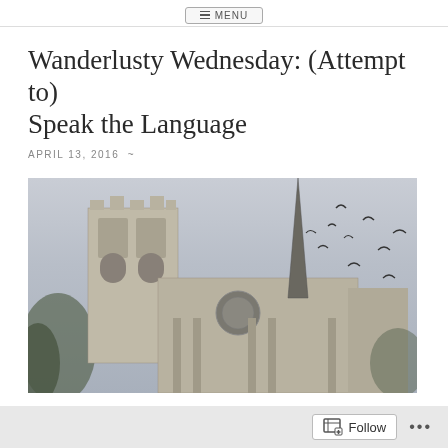MENU
Wanderlusty Wednesday: (Attempt to) Speak the Language
APRIL 13, 2016 ~
[Figure (photo): Photograph of Notre-Dame Cathedral in Paris with birds flying in a grey overcast sky]
Follow ...